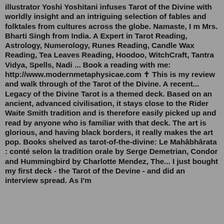illustrator Yoshi Yoshitani infuses Tarot of the Divine with worldly insight and an intriguing selection of fables and folktales from cultures across the globe. Namaste, I m Mrs. Bharti Singh from India. A Expert in Tarot Reading, Astrology, Numerology, Runes Reading, Candle Wax Reading, Tea Leaves Reading, Hoodoo, WitchCraft, Tantra Vidya, Spells, Nadi ... Book a reading with me: http://www.modernmetaphysicae.com ✝ This is my review and walk through of the Tarot of the Divine. A recent... Legacy of the Divine Tarot is a themed deck. Based on an ancient, advanced civilisation, it stays close to the Rider Waite Smith tradition and is therefore easily picked up and read by anyone who is familiar with that deck. The art is glorious, and having black borders, it really makes the art pop. Books shelved as tarot-of-the-divine: Le Mahâbhârata : conté selon la tradition orale by Serge Demetrian, Condor and Hummingbird by Charlotte Mendez, The... I just bought my first deck - the Tarot of the Devine - and did an interview spread. As I'm